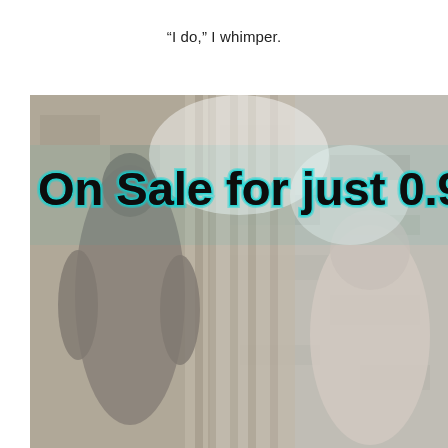“I do,” I whimper.
[Figure (photo): Book cover or promotional image showing muscular male figures in black and white against a stone/brick background, with teal-accented text overlay reading 'On Sale for just 0.99']